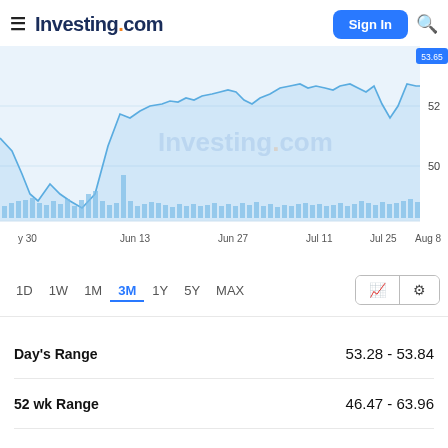Investing.com  Sign In
[Figure (continuous-plot): Stock price line chart showing price movement from May 30 to Aug 8, with price levels around 50-52+ shown on y-axis and volume bars at bottom. Watermark: Investing.com]
1D  1W  1M  3M  1Y  5Y  MAX
Day's Range	53.28 - 53.84
52 wk Range	46.47 - 63.96